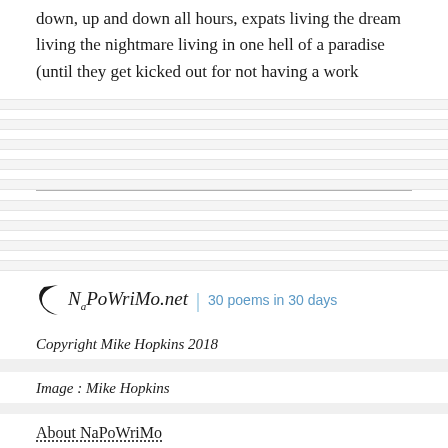down, up and down all hours, expats living the dream living the nightmare living in one hell of a paradise (until they get kicked out for not having a work permit).
[Figure (logo): NaPoWriMo.net logo with crescent moon icon and tagline '30 poems in 30 days' in blue text]
Copyright Mike Hopkins 2018
Image : Mike Hopkins
About NaPoWriMo